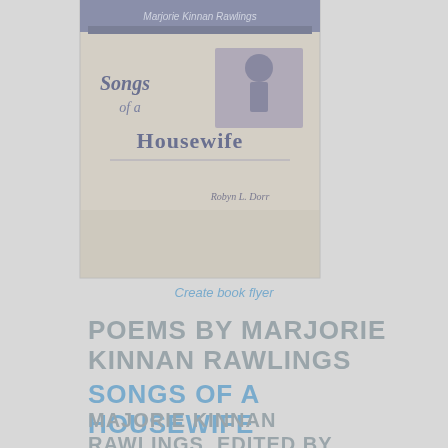[Figure (illustration): Book cover image for 'Songs of a Housewife' showing an illustrated book cover with text 'Songs of a Housewife' and an author name, partially visible at the top of the page. The cover has a vintage style with decorative fonts.]
Create book flyer
POEMS BY MARJORIE KINNAN RAWLINGS SONGS OF A HOUSEWIFE
MAJORIE KINNAN RAWLINGS, EDITED BY